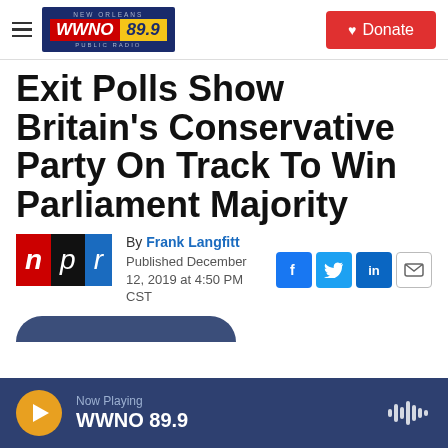WWNO 89.9 New Orleans Public Radio — Donate
Exit Polls Show Britain's Conservative Party On Track To Win Parliament Majority
By Frank Langfitt
Published December 12, 2019 at 4:50 PM CST
Now Playing WWNO 89.9